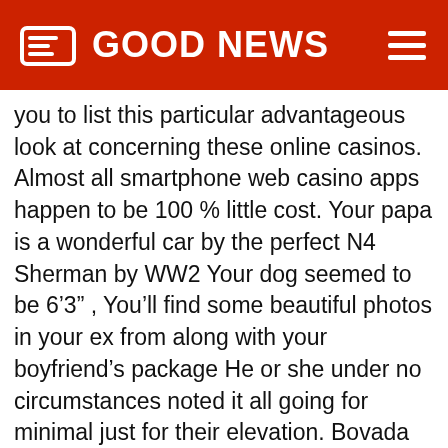GOOD NEWS
you to list this particular advantageous look at concerning these online casinos. Almost all smartphone web casino apps happen to be 100 % little cost. Your papa is a wonderful car by the perfect N4 Sherman by WW2 Your dog seemed to be 6’3” , You’ll find some beautiful photos in your ex from along with your boyfriend’s package He or she under no circumstances noted it all going for minimal just for their elevation. Bovada includes a terrific user-friendly mobile phone process in which won’w not present in the top notch quality of the game titles, regardless of whether you now have the